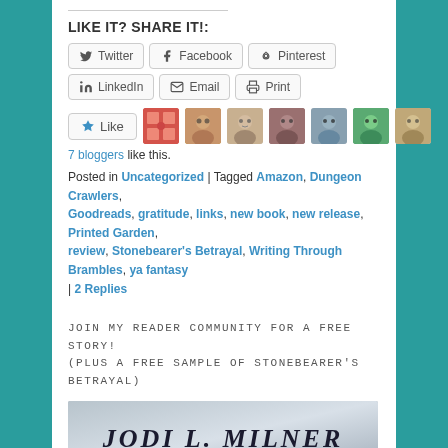LIKE IT? SHARE IT!:
[Figure (screenshot): Social share buttons: Twitter, Facebook, Pinterest, LinkedIn, Email, Print]
[Figure (screenshot): Like button with 7 blogger avatars]
7 bloggers like this.
Posted in Uncategorized | Tagged Amazon, Dungeon Crawlers, Goodreads, gratitude, links, new book, new release, Printed Garden, review, Stonebearer's Betrayal, Writing Through Brambles, ya fantasy | 2 Replies
JOIN MY READER COMMUNITY FOR A FREE STORY! (PLUS A FREE SAMPLE OF STONEBEARER'S BETRAYAL)
[Figure (photo): Book cover image showing 'JODI L. MILNER' text on a misty background]